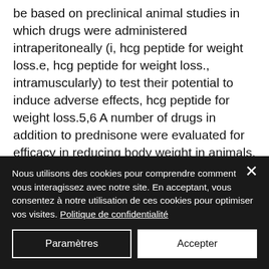be based on preclinical animal studies in which drugs were administered intraperitoneally (i, hcg peptide for weight loss.e, hcg peptide for weight loss., intramuscularly) to test their potential to induce adverse effects, hcg peptide for weight loss.5,6 A number of drugs in addition to prednisone were evaluated for efficacy in reducing body weight in animals, hcg peptide for weight loss. Although the studies used different models and doses of drugs, with or without intraperitoneal administration of
Nous utilisons des cookies pour comprendre comment vous interagissez avec notre site. En acceptant, vous consentez à notre utilisation de ces cookies pour optimiser vos visites. Politique de confidentialité